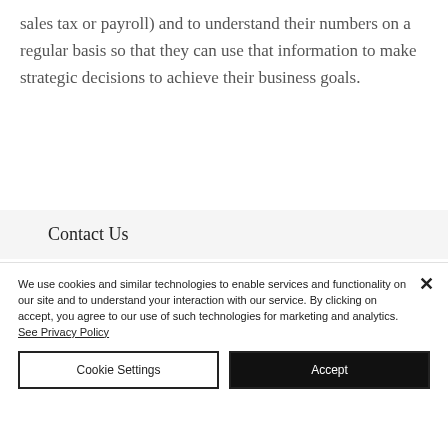their business obligations (such as sales tax or payroll) and to understand their numbers on a regular basis so that they can use that information to make strategic decisions to achieve their business goals.
Contact Us
We use cookies and similar technologies to enable services and functionality on our site and to understand your interaction with our service. By clicking on accept, you agree to our use of such technologies for marketing and analytics. See Privacy Policy